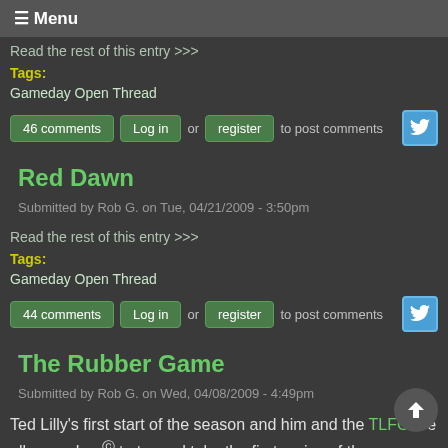≡ Menu
Read the rest of this entry >>>
Tags:
Gameday Open Thread
46 comments  Log in or register to post comments
Red Dawn
Submitted by Rob G. on Tue, 04/21/2009 - 3:50pm
Read the rest of this entry >>>
Tags:
Gameday Open Thread
44 comments  Log in or register to post comments
The Rubber Game
Submitted by Rob G. on Wed, 04/08/2009 - 4:49pm
Ted Lilly's first start of the season and him and the TLFC are all amped up to try and take the first series of the year.